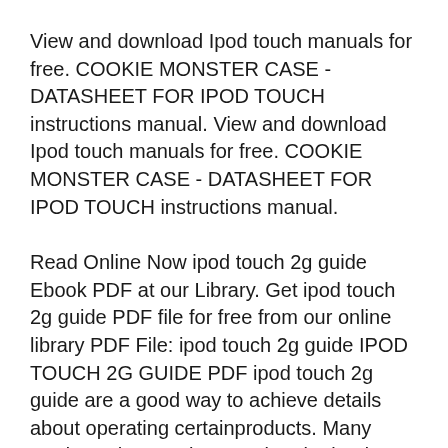View and download Ipod touch manuals for free. COOKIE MONSTER CASE - DATASHEET FOR IPOD TOUCH instructions manual. View and download Ipod touch manuals for free. COOKIE MONSTER CASE - DATASHEET FOR IPOD TOUCH instructions manual.
Read Online Now ipod touch 2g guide Ebook PDF at our Library. Get ipod touch 2g guide PDF file for free from our online library PDF File: ipod touch 2g guide IPOD TOUCH 2G GUIDE PDF ipod touch 2g guide are a good way to achieve details about operating certainproducts. Many products that you buy can be obtained using